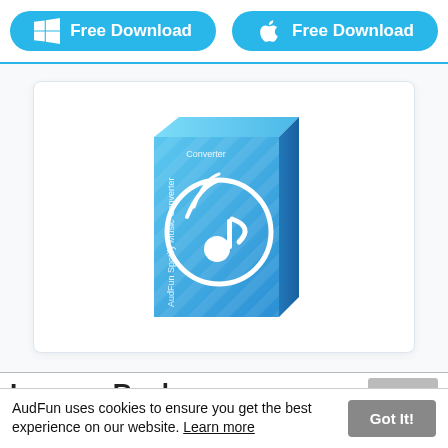Free Download (Windows) | Free Download (Mac)
[Figure (photo): AudFun Spotify Music Converter software product box on light background, blue gradient box with music note icon]
Leave a Reply
AudFun uses cookies to ensure you get the best experience on our website. Learn more
Got It!